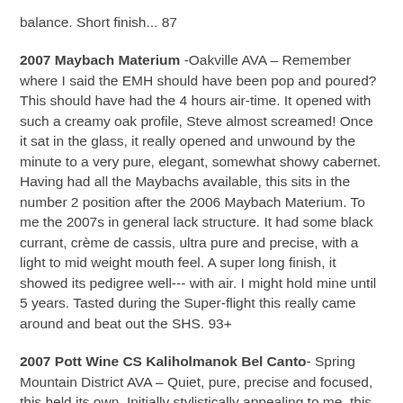balance. Short finish... 87
2007 Maybach Materium -Oakville AVA – Remember where I said the EMH should have been pop and poured? This should have had the 4 hours air-time. It opened with such a creamy oak profile, Steve almost screamed! Once it sat in the glass, it really opened and unwound by the minute to a very pure, elegant, somewhat showy cabernet. Having had all the Maybachs available, this sits in the number 2 position after the 2006 Maybach Materium. To me the 2007s in general lack structure. It had some black currant, crème de cassis, ultra pure and precise, with a light to mid weight mouth feel. A super long finish, it showed its pedigree well--- with air. I might hold mine until 5 years. Tasted during the Super-flight this really came around and beat out the SHS. 93+
2007 Pott Wine CS Kaliholmanok Bel Canto- Spring Mountain District AVA – Quiet, pure, precise and focused, this held its own. Initially stylistically appealing to me, this had some wonderful structure wrapped in elegance, all while being confident and bold. After the Bryant, possible the most